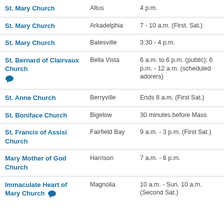| Church | Location | Hours |
| --- | --- | --- |
| St. Mary Church | Altus | 4 p.m. |
| St. Mary Church | Arkadelphia | 7 - 10 a.m. (First. Sat.) |
| St. Mary Church | Batesville | 3:30 - 4 p.m. |
| St. Bernard of Clairvaux Church [chat] | Bella Vista | 6 a.m. to 6 p.m. (public); 6 p.m. - 12 a.m. (scheduled adorers) |
| St. Anne Church | Berryville | Ends 8 a.m. (First Sat.) |
| St. Boniface Church | Bigelow | 30 minutes before Mass |
| St. Francis of Assisi Church | Fairfield Bay | 9 a.m. - 3 p.m. (First Sat.) |
| Mary Mother of God Church | Harrison | 7 a.m. - 6 p.m. |
| Immaculate Heart of Mary Church [chat] | Magnolia | 10 a.m. - Sun. 10 a.m. (Second Sat.) |